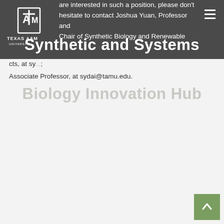[Figure (logo): Texas A&M University logo with ATM emblem and text TEXAS A&M UNIVERSITY]
Synthetic and Systems Biology Innovation Hub
are interested in such a position, please don’t hesitate to contact Joshua Yuan, Professor and Chair of Synthetic Biology and Renewable [products], at sy[...]; Associate Professor, at sydai@tamu.edu.
Synthetic and Systems Biology Innovation Hub